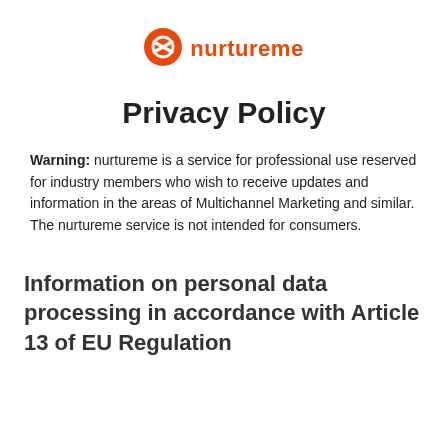[Figure (logo): nurtureme logo: orange circle with X mark icon followed by the text 'nurtureme' in orange]
Privacy Policy
Warning: nurtureme is a service for professional use reserved for industry members who wish to receive updates and information in the areas of Multichannel Marketing and similar. The nurtureme service is not intended for consumers.
Information on personal data processing in accordance with Article 13 of EU Regulation